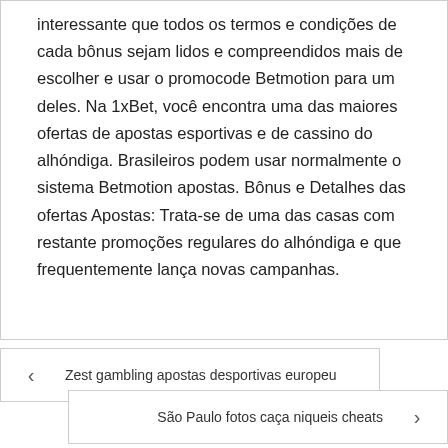interessante que todos os termos e condições de cada bônus sejam lidos e compreendidos mais de escolher e usar o promocode Betmotion para um deles. Na 1xBet, você encontra uma das maiores ofertas de apostas esportivas e de cassino do alhóndiga. Brasileiros podem usar normalmente o sistema Betmotion apostas. Bônus e Detalhes das ofertas Apostas: Trata-se de uma das casas com restante promoções regulares do alhóndiga e que frequentemente lança novas campanhas.
Zest gambling apostas desportivas europeu
São Paulo fotos caça niqueis cheats